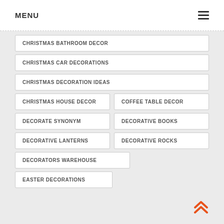MENU
CHRISTMAS BATHROOM DECOR
CHRISTMAS CAR DECORATIONS
CHRISTMAS DECORATION IDEAS
CHRISTMAS HOUSE DECOR
COFFEE TABLE DECOR
DECORATE SYNONYM
DECORATIVE BOOKS
DECORATIVE LANTERNS
DECORATIVE ROCKS
DECORATORS WAREHOUSE
EASTER DECORATIONS